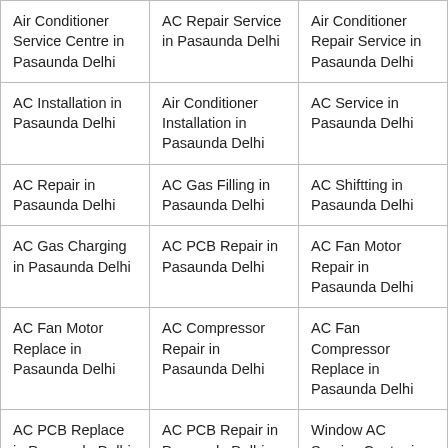| Air Conditioner Service Centre in Pasaunda Delhi | AC Repair Service in Pasaunda Delhi | Air Conditioner Repair Service in Pasaunda Delhi |
| AC Installation in Pasaunda Delhi | Air Conditioner Installation in Pasaunda Delhi | AC Service in Pasaunda Delhi |
| AC Repair in Pasaunda Delhi | AC Gas Filling in Pasaunda Delhi | AC Shiftting in Pasaunda Delhi |
| AC Gas Charging in Pasaunda Delhi | AC PCB Repair in Pasaunda Delhi | AC Fan Motor Repair in Pasaunda Delhi |
| AC Fan Motor Replace in Pasaunda Delhi | AC Compressor Repair in Pasaunda Delhi | AC Fan Compressor Replace in Pasaunda Delhi |
| AC PCB Replace in Pasaunda Delhi | AC PCB Repair in Pasaunda Delhi | Window AC Service Centre in Pasaunda Delhi |
|  |  |  |